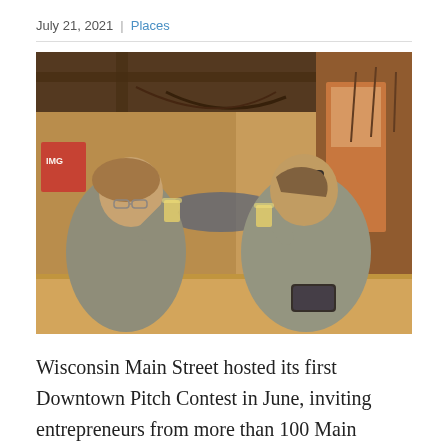July 21, 2021 | Places
[Figure (photo): Two women sitting at a wooden bar counter in a rustic indoor venue, smiling and holding glasses of beer. One woman faces left with short hair, the other faces right with sunglasses on her head. A hammock and wooden beam ceiling are visible in the background. A smartphone sits on the bar.]
Wisconsin Main Street hosted its first Downtown Pitch Contest in June, inviting entrepreneurs from more than 100 Main